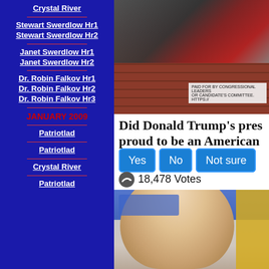Crystal River
Stewart Swerdlow Hr1
Stewart Swerdlow Hr2
Janet Swerdlow Hr1
Janet Swerdlow Hr2
Dr. Robin Falkov Hr1
Dr. Robin Falkov Hr2
Dr. Robin Falkov Hr3
JANUARY 2009
Patriotlad
Patriotlad
Crystal River
Patriotlad
[Figure (photo): Photo of a wall with American flag graffiti and brick background, with a 'Paid for by Congressional Leadership' disclaimer box]
Did Donald Trump's pres proud to be an American
Yes  No  Not sure
18,478 Votes
[Figure (photo): Photo of Joe Biden at a campaign event, partial close-up of his face with a yellow campaign sign in background]